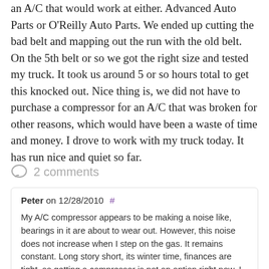an A/C that would work at either. Advanced Auto Parts or O'Reilly Auto Parts. We ended up cutting the bad belt and mapping out the run with the old belt. On the 5th belt or so we got the right size and tested my truck. It took us around 5 or so hours total to get this knocked out. Nice thing is, we did not have to purchase a compressor for an A/C that was broken for other reasons, which would have been a waste of time and money. I drove to work with my truck today. It has run nice and quiet so far.
2 comments
Peter on 12/28/2010 #
My A/C compressor appears to be making a noise like, bearings in it are about to wear out. However, this noise does not increase when I step on the gas. It remains constant. Long story short, its winter time, finances are tight, so getting a compressor is not an option right now. I also saw the dia posted on the brace thats in front of the radiator, that sh the path of the belt with or without the A/C. I purchased the